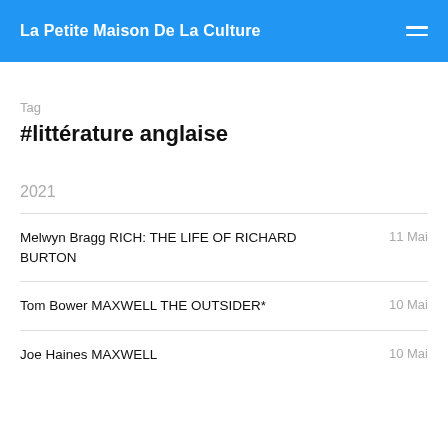La Petite Maison De La Culture
Tag
#littérature anglaise
2021
Melwyn Bragg RICH: THE LIFE OF RICHARD BURTON — 11 Mai
Tom Bower MAXWELL THE OUTSIDER* — 10 Mai
Joe Haines MAXWELL — 10 Mai